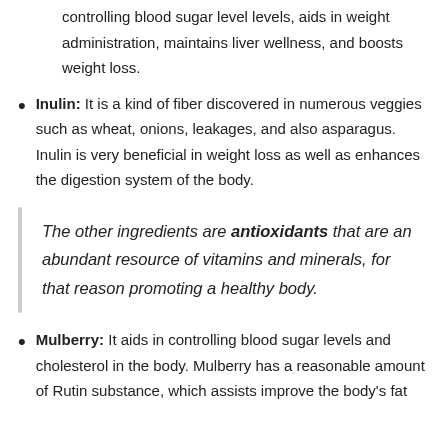controlling blood sugar level levels, aids in weight administration, maintains liver wellness, and boosts weight loss.
Inulin: It is a kind of fiber discovered in numerous veggies such as wheat, onions, leakages, and also asparagus. Inulin is very beneficial in weight loss as well as enhances the digestion system of the body.
The other ingredients are antioxidants that are an abundant resource of vitamins and minerals, for that reason promoting a healthy body.
Mulberry: It aids in controlling blood sugar levels and cholesterol in the body. Mulberry has a reasonable amount of Rutin substance, which assists improve the body's fat